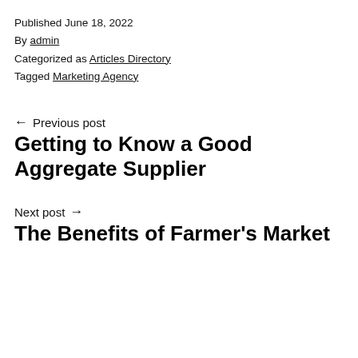Published June 18, 2022
By admin
Categorized as Articles Directory
Tagged Marketing Agency
← Previous post
Getting to Know a Good Aggregate Supplier
Next post →
The Benefits of Farmer's Market